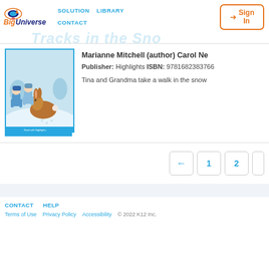[Figure (logo): Big Universe logo with orange and dark blue stylized text]
SOLUTION   LIBRARY   CONTACT
[Figure (screenshot): Sign In button with orange border and arrow icon]
Tracks in the Snow (watermark/background text)
[Figure (illustration): Book cover illustration showing two children and a large brown rabbit in a snowy scene]
Marianne Mitchell (author) Carol Ne
Publisher: Highlights ISBN: 9781682383766
Tina and Grandma take a walk in the snow
[Figure (infographic): Pagination controls: left arrow, 1, 2 buttons]
CONTACT   HELP   Terms of Use   Privacy Policy   Accessibility   © 2022 K12 Inc.